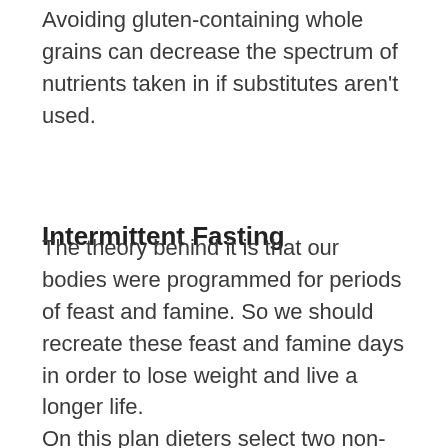Avoiding gluten-containing whole grains can decrease the spectrum of nutrients taken in if substitutes aren't used.
Intermittent Fasting
The theory behind it is that our bodies were programmed for periods of feast and famine. So we should recreate these feast and famine days in order to lose weight and live a longer life. On this plan dieters select two non-consecutive days each week to eat 500 or 600 calories, depending if they're a man or woman. On fasting days, low-glycemic-index and low-glycemic-load foods are recommended since they take longer to digest, which in turn makes you feel more satisfied. Recommended foods include vegetables, nuts, seeds